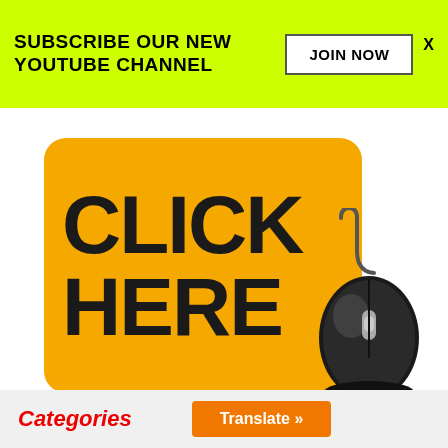SUBSCRIBE OUR NEW YOUTUBE CHANNEL
JOIN NOW
X
[Figure (illustration): Yellow rounded rectangle with bold black text 'CLICK HERE' and a computer mouse graphic overlapping the right side]
Categories
Translate »